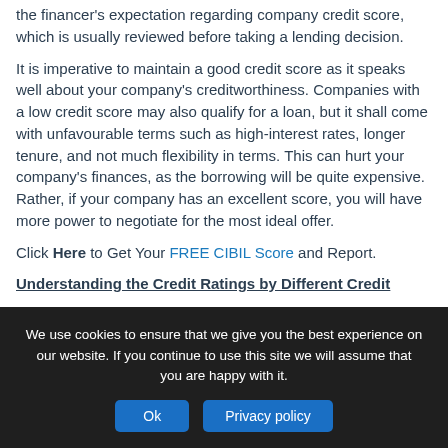the financer's expectation regarding company credit score, which is usually reviewed before taking a lending decision.
It is imperative to maintain a good credit score as it speaks well about your company's creditworthiness. Companies with a low credit score may also qualify for a loan, but it shall come with unfavourable terms such as high-interest rates, longer tenure, and not much flexibility in terms. This can hurt your company's finances, as the borrowing will be quite expensive. Rather, if your company has an excellent score, you will have more power to negotiate for the most ideal offer.
Click Here to Get Your FREE CIBIL Score and Report.
Understanding the Credit Ratings by Different Credit
We use cookies to ensure that we give you the best experience on our website. If you continue to use this site we will assume that you are happy with it.